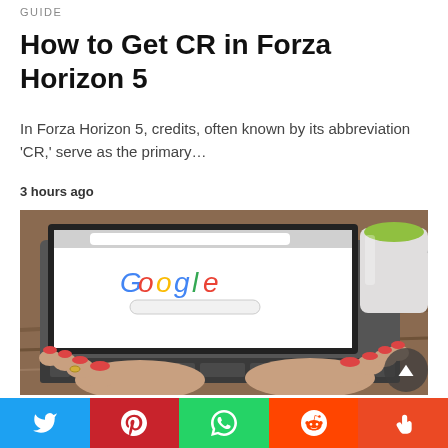GUIDE
How to Get CR in Forza Horizon 5
In Forza Horizon 5, credits, often known by its abbreviation 'CR,' serve as the primary…
3 hours ago
[Figure (photo): Person typing on a MacBook laptop with Google homepage visible on screen; a white mug with green drink sits beside the laptop on a wooden table.]
GOOGLE